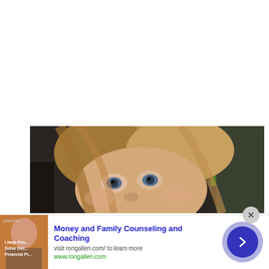[Figure (photo): Close-up photo of a young blonde child with blue eyes looking at the camera, shot in a dark indoor setting with a green chair visible in the background]
[Figure (infographic): Advertisement banner: thumbnail image of older man on left, bold blue title 'Money and Family Counseling and Coaching', subtext 'visit rongallen.com/ to learn more', green URL 'www.rongallen.com', arrow button circle on right, close X button at top right]